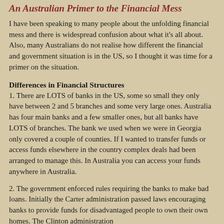An Australian Primer to the Financial Mess
I have been speaking to many people about the unfolding financial mess and there is widespread confusion about what it's all about.  Also, many Australians do not realise how different the financial and government situation is in the US, so I thought it was time for a primer on the situation.
Differences in Financial Structures
1. There are LOTS of banks in the US, some so small they only have between 2 and 5 branches and some very large ones.  Australia has four main banks and a few smaller ones, but all banks have LOTS of branches.  The bank we used when we were in Georgia only covered a couple of counties.  If I wanted to transfer funds or access funds elsewhere in the country complex deals had been arranged to manage this.  In Australia you can access your funds anywhere in Australia.
2. The government enforced rules requiring the banks to make bad loans.  Initially the Carter administration passed laws encouraging banks to provide funds for disadvantaged people to own their own homes.  The Clinton administration